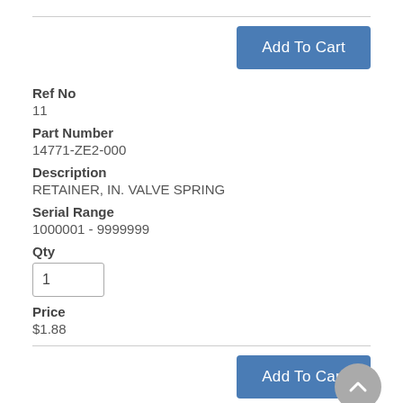Add To Cart
Ref No
11
Part Number
14771-ZE2-000
Description
RETAINER, IN. VALVE SPRING
Serial Range
1000001 - 9999999
Qty
1
Price
$1.88
Add To Cart
Ref No
12
Part Number